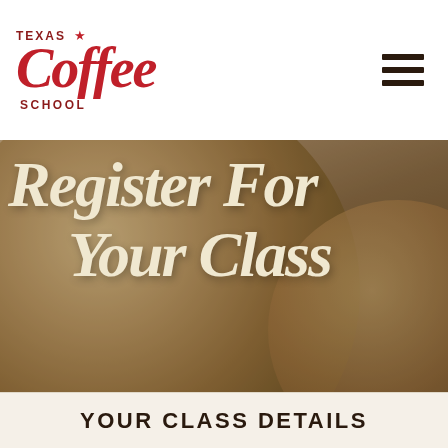Texas Coffee School
[Figure (photo): Background photo of coffee grounds in circular containers viewed from above, with overlaid script text 'Register For Your Class' in cream/ivory color]
YOUR CLASS DETAILS